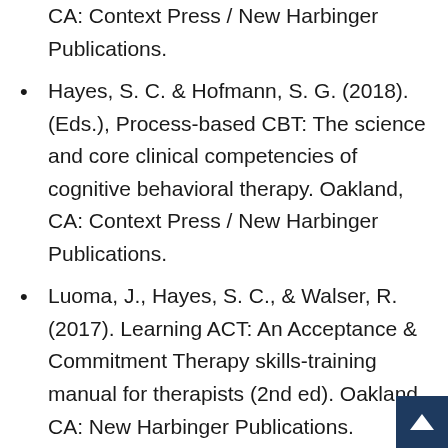CA: Context Press / New Harbinger Publications.
Hayes, S. C. & Hofmann, S. G. (2018). (Eds.), Process-based CBT: The science and core clinical competencies of cognitive behavioral therapy. Oakland, CA: Context Press / New Harbinger Publications.
Luoma, J., Hayes, S. C., & Walser, R. (2017). Learning ACT: An Acceptance & Commitment Therapy skills-training manual for therapists (2nd ed). Oakland, CA: New Harbinger Publications.